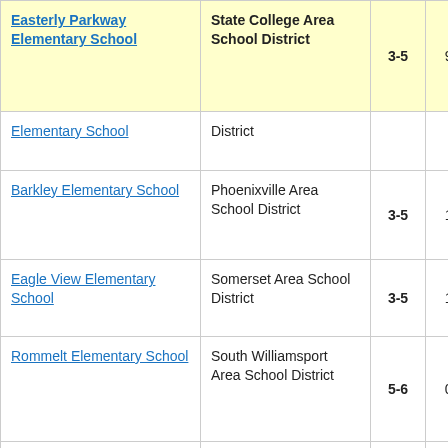| School | District | Grades | Value |
| --- | --- | --- | --- |
| Easterly Parkway Elementary School | State College Area School District | 3-5 | 9. |
| Elementary School | District |  |  |
| Barkley Elementary School | Phoenixville Area School District | 3-5 | 1. |
| Eagle View Elementary School | Somerset Area School District | 3-5 | 1. |
| Rommelt Elementary School | South Williamsport Area School District | 5-6 | 0. |
| Francis Mcclure Elementary School | Mckeesport Area School District | 3-5 | 1. |
| Bethune Mary Mcleod School | Philadelphia City School District | 3-8 | 1. |
| Southwest Elementary School | Lebanon School District | 3-5 | 1. |